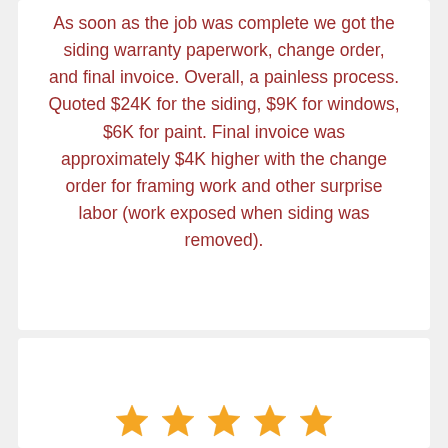As soon as the job was complete we got the siding warranty paperwork, change order, and final invoice. Overall, a painless process. Quoted $24K for the siding, $9K for windows, $6K for paint. Final invoice was approximately $4K higher with the change order for framing work and other surprise labor (work exposed when siding was removed).
Brian K.
Google
[Figure (illustration): Five gold/orange star rating icons displayed in a row]